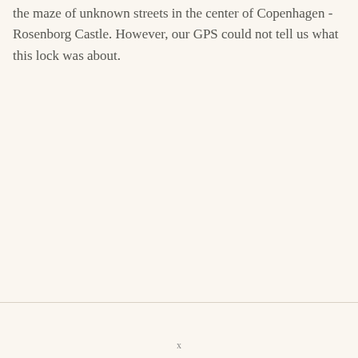the maze of unknown streets in the center of Copenhagen - Rosenborg Castle. However, our GPS could not tell us what this lock was about.
x